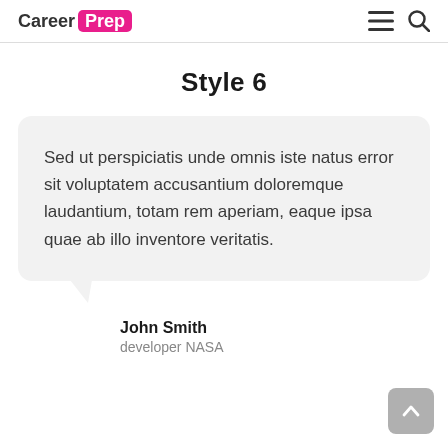Career Prep
Style 6
Sed ut perspiciatis unde omnis iste natus error sit voluptatem accusantium doloremque laudantium, totam rem aperiam, eaque ipsa quae ab illo inventore veritatis.
John Smith
developer NASA